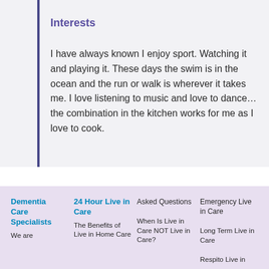Interests
I have always known I enjoy sport. Watching it and playing it. These days the swim is in the ocean and the run or walk is wherever it takes me. I love listening to music and love to dance… the combination in the kitchen works for me as I love to cook.
Dementia Care Specialists | 24 Hour Live in Care | Asked Questions | Emergency Live in Care | We are | The Benefits of Live in Home Care | When Is Live in Care NOT Live in Care? | Long Term Live in Care | Respito Live in
Dementia Care Specialists
24 Hour Live in Care
Asked Questions
Emergency Live in Care
We are
The Benefits of Live in Home Care
When Is Live in Care NOT Live in Care?
Long Term Live in Care
Respito Live in